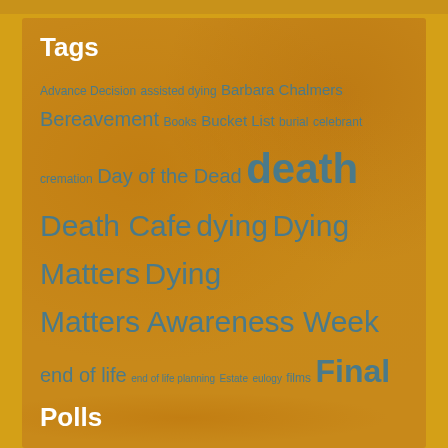Tags
Advance Decision assisted dying Barbara Chalmers Bereavement Books Bucket List burial celebrant cremation Day of the Dead death Death Cafe dying Dying Matters Dying Matters Awareness Week end of life end of life planning Estate eulogy films Final Fling funeral funeral costs funeral director funeral plan funeral poverty funerals Funeral Wishes Good Funeral Awards Good Life Good Death Good Grief grief Life Planning Tools Living Well Dying Well loss Marketplace Memory Box music Natural Death Centre rites of passage Safe Deposit Box suicide survey tribute Will wishes
Polls